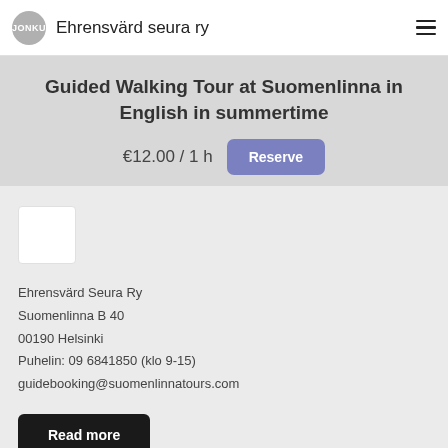Ehrensvärd seura ry
Guided Walking Tour at Suomenlinna in English in summertime
€12.00 / 1 h
[Figure (logo): White square placeholder image/logo thumbnail]
Ehrensvärd Seura Ry
Suomenlinna B 40
00190 Helsinki
Puhelin: 09 6841850 (klo 9-15)
guidebooking@suomenlinnatours.com
Read more